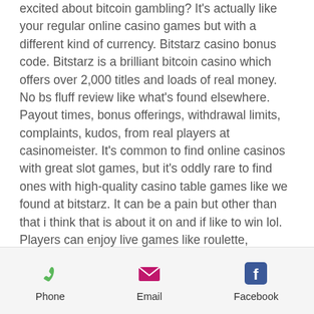excited about bitcoin gambling? It's actually like your regular online casino games but with a different kind of currency. Bitstarz casino bonus code. Bitstarz is a brilliant bitcoin casino which offers over 2,000 titles and loads of real money. No bs fluff review like what's found elsewhere. Payout times, bonus offerings, withdrawal limits, complaints, kudos, from real players at casinomeister. It's common to find online casinos with great slot games, but it's oddly rare to find ones with high-quality casino table games like we found at bitstarz. It can be a pain but other than that i think that is about it on and if like to win lol. Players can enjoy live games like roulette, baccarat, blackjack, and wheel of fortune. Some of the live dealer games contribute to your bonus wagering
Phone | Email | Facebook